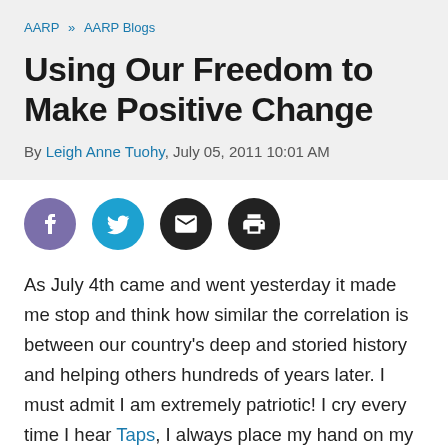AARP » AARP Blogs
Using Our Freedom to Make Positive Change
By Leigh Anne Tuohy, July 05, 2011 10:01 AM
[Figure (infographic): Social sharing icons: Facebook (purple circle), Twitter (blue circle), Email (black circle), Print (black circle)]
As July 4th came and went yesterday it made me stop and think how similar the correlation is between our country's deep and storied history and helping others hundreds of years later. I must admit I am extremely patriotic! I cry every time I hear Taps, I always place my hand on my heart when I hear our National Anthem, and I hate to see an American Flag touch the ground. You are